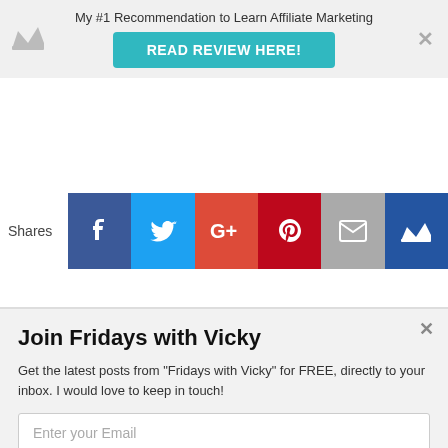[Figure (screenshot): Top banner with crown icon, 'My #1 Recommendation to Learn Affiliate Marketing' text, teal 'READ REVIEW HERE!' button, and close X button on grey background]
[Figure (infographic): Social sharing bar with Shares label and icons for Facebook (dark blue), Twitter (light blue), Google+ (orange-red), Pinterest (red), Email (grey), and crown/other (dark blue)]
[Figure (screenshot): Modal popup with 'Join Fridays with Vicky' title, subscription text, email input field, and teal 'YES, SEND ME SOME HELPFUL CONTENT!' submit button on light grey background]